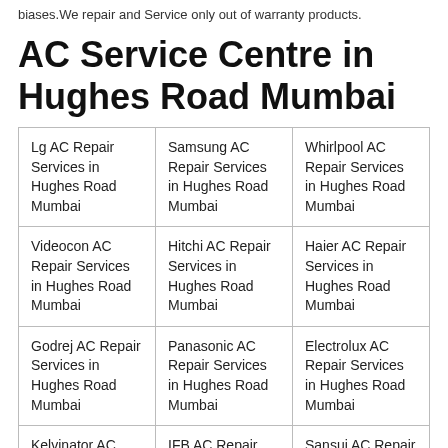biases.We repair and Service only out of warranty products.
AC Service Centre in Hughes Road Mumbai
| Lg AC Repair Services in Hughes Road Mumbai | Samsung AC Repair Services in Hughes Road Mumbai | Whirlpool AC Repair Services in Hughes Road Mumbai |
| Videocon AC Repair Services in Hughes Road Mumbai | Hitchi AC Repair Services in Hughes Road Mumbai | Haier AC Repair Services in Hughes Road Mumbai |
| Godrej AC Repair Services in Hughes Road Mumbai | Panasonic AC Repair Services in Hughes Road Mumbai | Electrolux AC Repair Services in Hughes Road Mumbai |
| Kelvinator AC Repair Services | IFB AC Repair Services in Hughes | Sansui AC Repair Services in |